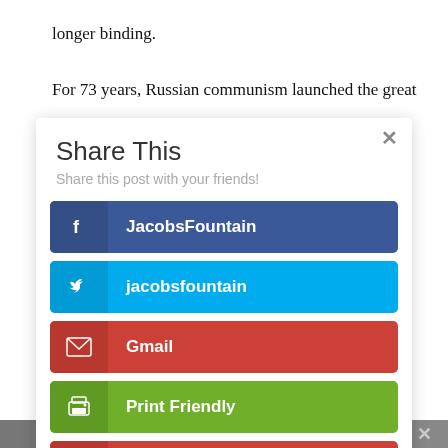longer binding.
For 73 years, Russian communism launched the great
[Figure (screenshot): A 'Share This' modal dialog overlaying a webpage. The modal has a close button (×) in the top-right corner, a title 'Share This', subtitle 'Share this post with your friends!', and five sharing buttons: Facebook (JacobsFountain, blue), Twitter (jacobsfountain, cyan), Gmail (red), Print Friendly (green), and Like (red with heart icon).]